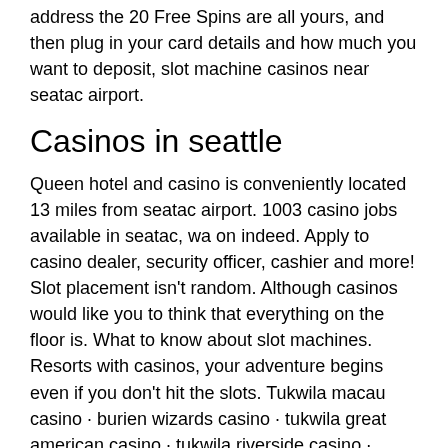address the 20 Free Spins are all yours, and then plug in your card details and how much you want to deposit, slot machine casinos near seatac airport.
Casinos in seattle
Queen hotel and casino is conveniently located 13 miles from seatac airport. 1003 casino jobs available in seatac, wa on indeed. Apply to casino dealer, security officer, cashier and more! Slot placement isn't random. Although casinos would like you to think that everything on the floor is. What to know about slot machines. Resorts with casinos, your adventure begins even if you don't hit the slots. Tukwila macau casino · burien wizards casino · tukwila great american casino · tukwila riverside casino · renton silver dollar casino. Over 300000 square feet of entertainment, gaming &amp; dining! sign up for our new eqc players club &amp; start earning points towards free play